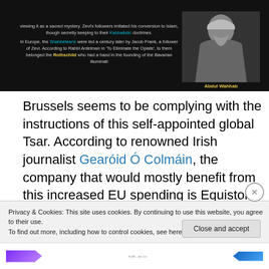[Figure (photo): Dark background image block with centered text referencing Kabbalistic doctrines, Shabbeteans, Jacob Frank, Rabbi Antelman, and Rothschild founding of Bavarian Illuminati. On the right is a black-and-white photo portrait labeled 'Abdul Wahhab'.]
Brussels seems to be complying with the instructions of this self-appointed global Tsar. According to renowned Irish journalist Gearóid Ó Colmáin, the company that would mostly benefit from this increased EU spending is Equistone Partners Europe, an affiliate of the Rothschild-
Privacy & Cookies: This site uses cookies. By continuing to use this website, you agree to their use.
To find out more, including how to control cookies, see here: Cookie Policy